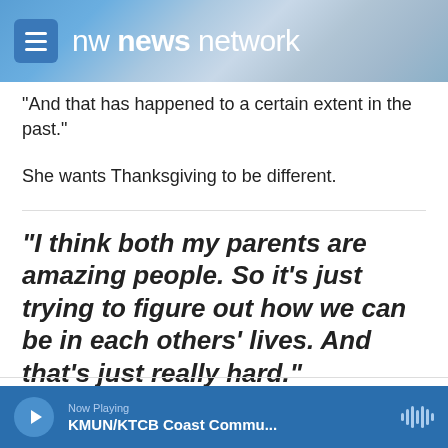nw news network
"And that has happened to a certain extent in the past."
She wants Thanksgiving to be different.
"I think both my parents are amazing people. So it's just trying to figure out how we can be in each others' lives. And that's just really hard."
Now Playing KMUN/KTCB Coast Commu...